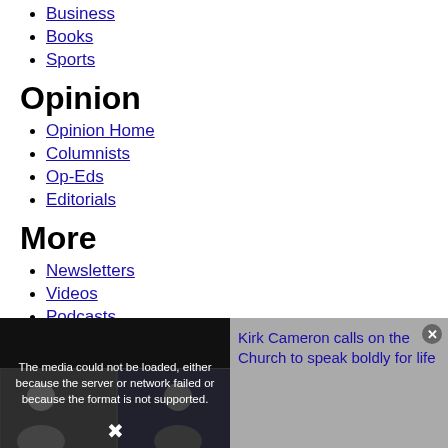Business
Books
Sports
Opinion
Opinion Home
Columnists
Op-Eds
Editorials
More
Newsletters
Videos
Podcasts
CP Magazine
[Figure (screenshot): Video player overlay showing error message 'The media could not be loaded, either because the server or network failed or because the format is not supported.' with two person thumbnails on the left and article title 'Kirk Cameron calls on the Church to speak boldly for life' on the right.]